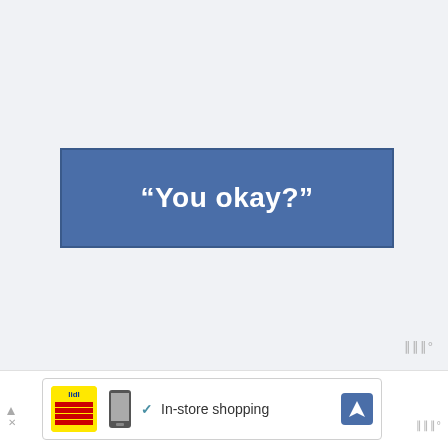[Figure (screenshot): A Facebook-style blue banner with white bold text reading “You okay?” on a light grey background]
[Figure (screenshot): An advertisement bar at the bottom showing a Lidl logo with a phone graphic, a checkmark, the text 'In-store shopping', a blue navigation arrow icon, and a watermark]